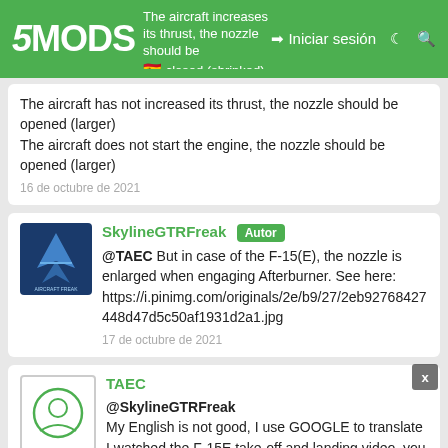5MODS — Iniciar sesión
The aircraft increases its thrust, the nozzle should be closed (shrinked)
The aircraft has not increased its thrust, the nozzle should be opened (larger)
The aircraft does not start the engine, the nozzle should be opened (larger)
16 de octubre de 2021
SkylineGTRFreak [Autor]
@TAEC But in case of the F-15(E), the nozzle is enlarged when engaging Afterburner. See here: https://i.pinimg.com/originals/2e/b9/27/2eb92768427448d47d5c50af1931d2a1.jpg
17 de octubre de 2021
TAEC
@SkylineGTRFreak
My English is not good, I use GOOGLE to translate
I watched the F-15E take-off and landing video, you are right!
But after watching it, I found that the nozzle was not